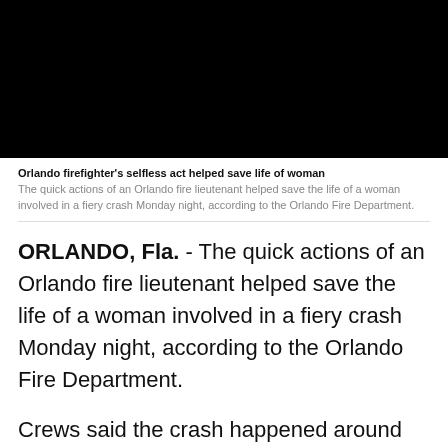[Figure (photo): Black video/image placeholder at the top of the article]
Orlando firefighter's selfless act helped save life of woman
The quick actions of an Orlando fire lieutenant helped save the life of a woman involved in a fiery crash Monday night, according to the Orlando Fire Department.
ORLANDO, Fla. - The quick actions of an Orlando fire lieutenant helped save the life of a woman involved in a fiery crash Monday night, according to the Orlando Fire Department.
Crews said the crash happened around 11 p.m. near Northlake Parkway and Narcoossee Road. When firefighters arrived to the area, they found a burning...